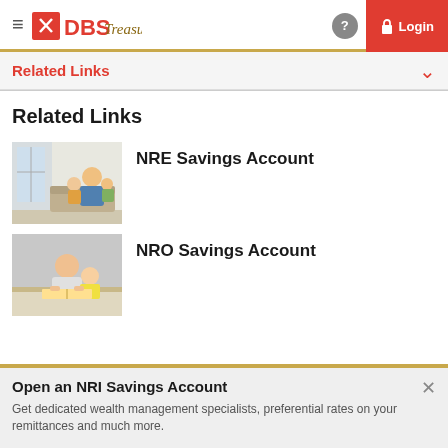DBS Treasures — Login
Related Links
Related Links
[Figure (photo): Photo of a woman with two young children, indoor setting with bright windows]
NRE Savings Account
[Figure (photo): Photo of a man and young child reading together at a table]
NRO Savings Account
Open an NRI Savings Account
Get dedicated wealth management specialists, preferential rates on your remittances and much more.